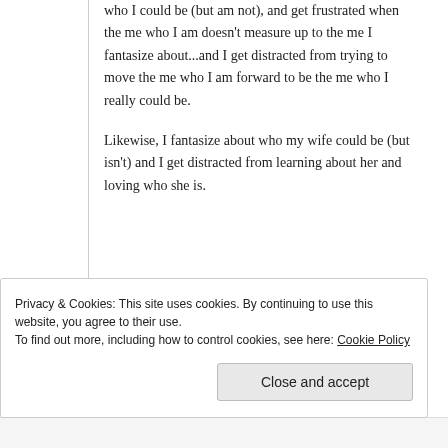who I could be (but am not), and get frustrated when the me who I am doesn't measure up to the me I fantasize about...and I get distracted from trying to move the me who I am forward to be the me who I really could be.
Likewise, I fantasize about who my wife could be (but isn't) and I get distracted from learning about her and loving who she is.
Privacy & Cookies: This site uses cookies. By continuing to use this website, you agree to their use.
To find out more, including how to control cookies, see here: Cookie Policy
Close and accept